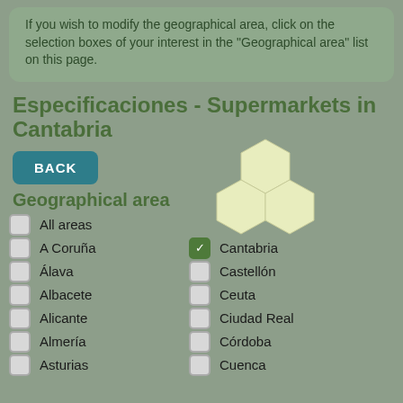If you wish to modify the geographical area, click on the selection boxes of your interest in the "Geographical area" list on this page.
Especificaciones - Supermarkets in Cantabria
BACK
[Figure (illustration): Three hexagon shapes arranged in a cluster, light yellow-green color]
Geographical area
All areas
A Coruña
Cantabria (checked)
Álava
Castellón
Albacete
Ceuta
Alicante
Ciudad Real
Almería
Córdoba
Asturias
Cuenca